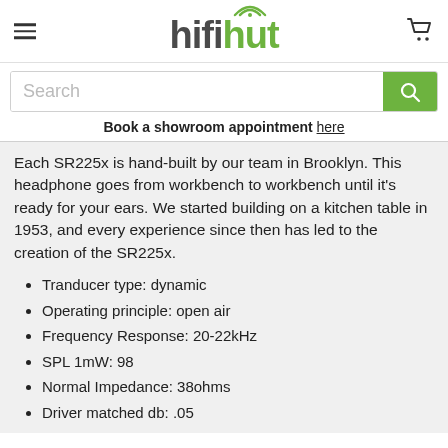hifihut
Search
Book a showroom  appointment here
Each SR225x is hand-built by our team in Brooklyn. This headphone goes from workbench to workbench until it's ready for your ears. We started building on a kitchen table in 1953, and every experience since then has led to the creation of the SR225x.
Tranducer type: dynamic
Operating principle: open air
Frequency Response: 20-22kHz
SPL 1mW: 98
Normal Impedance: 38ohms
Driver matched db: .05